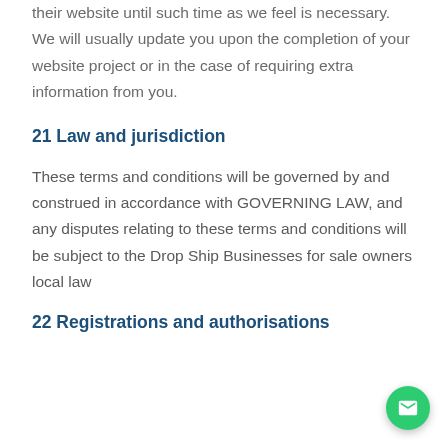their website until such time as we feel is necessary. We will usually update you upon the completion of your website project or in the case of requiring extra information from you.
21 Law and jurisdiction
These terms and conditions will be governed by and construed in accordance with GOVERNING LAW, and any disputes relating to these terms and conditions will be subject to the Drop Ship Businesses for sale owners local law
22 Registrations and authorisations